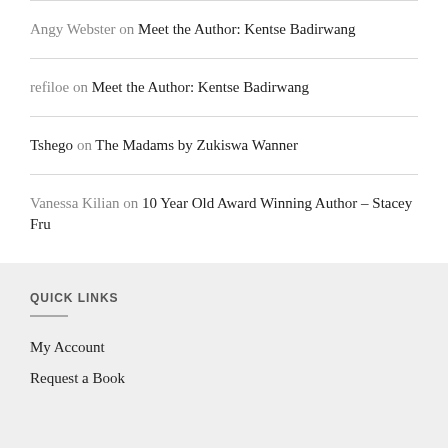Angy Webster on Meet the Author: Kentse Badirwang
refiloe on Meet the Author: Kentse Badirwang
Tshego on The Madams by Zukiswa Wanner
Vanessa Kilian on 10 Year Old Award Winning Author – Stacey Fru
QUICK LINKS
My Account
Request a Book